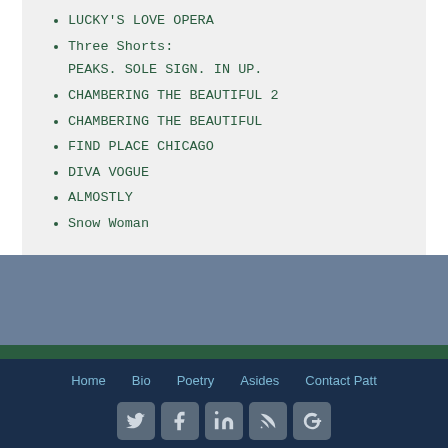LUCKY'S LOVE OPERA
Three Shorts:
PEAKS. SOLE SIGN. IN UP.
CHAMBERING THE BEAUTIFUL 2
CHAMBERING THE BEAUTIFUL
FIND PLACE CHICAGO
DIVA VOGUE
ALMOSTLY
Snow Woman
Home  Bio  Poetry  Asides  Contact Patt
Join my mailing list!  *
JohnDoe@example.com